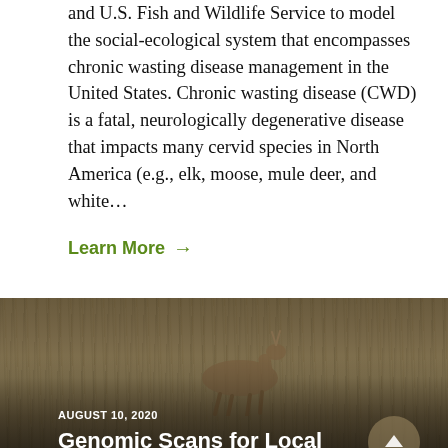and U.S. Fish and Wildlife Service to model the social-ecological system that encompasses chronic wasting disease management in the United States. Chronic wasting disease (CWD) is a fatal, neurologically degenerative disease that impacts many cervid species in North America (e.g., elk, moose, mule deer, and white...
Learn More →
[Figure (photo): A pronghorn or deer grazing in a dry prairie/grassland landscape, photographed in muted brown and golden tones]
AUGUST 10, 2020
Genomic Scans for Local Adaptation in Greater Sage-Grouse